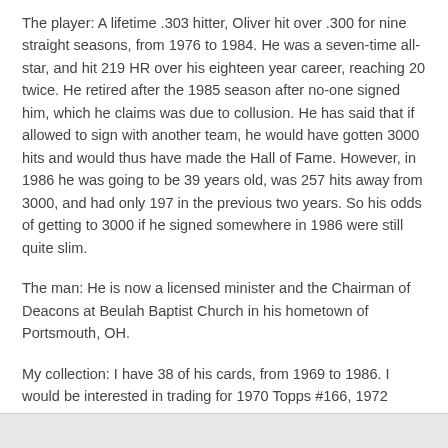The player: A lifetime .303 hitter, Oliver hit over .300 for nine straight seasons, from 1976 to 1984. He was a seven-time all-star, and hit 219 HR over his eighteen year career, reaching 20 twice. He retired after the 1985 season after no-one signed him, which he claims was due to collusion. He has said that if allowed to sign with another team, he would have gotten 3000 hits and would thus have made the Hall of Fame. However, in 1986 he was going to be 39 years old, was 257 hits away from 3000, and had only 197 in the previous two years. So his odds of getting to 3000 if he signed somewhere in 1986 were still quite slim.
The man: He is now a licensed minister and the Chairman of Deacons at Beulah Baptist Church in his hometown of Portsmouth, OH.
My collection: I have 38 of his cards, from 1969 to 1986. I would be interested in trading for 1970 Topps #166, 1972 Topps #575 and 1975 Topps #555.